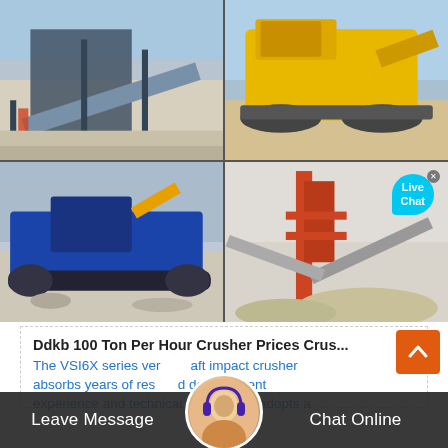[Figure (photo): Industrial conveyor belt / screening plant machinery, dark steel structure, outdoor setting with blue sky]
[Figure (photo): Yellow mobile jaw crusher / excavator-mounted crusher on sandy terrain]
[Figure (photo): Blue tracked mobile impact crusher on rocky ground]
[Figure (photo): Red and grey stationary crushing plant with conveyor belts and aggregate piles]
Ddkb 100 Ton Per Hour Crusher Prices Crus...
The VSI6X series vertical shaft impact crusher absorbs years of research and development experience and technical concepts. It adopts a
Leave Message
Chat Online